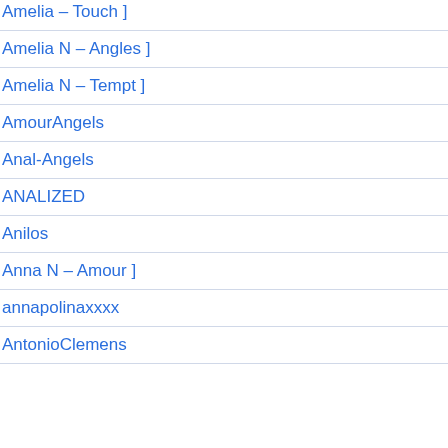Amelia – Touch ]
Amelia N – Angles ]
Amelia N – Tempt ]
AmourAngels
Anal-Angels
ANALIZED
Anilos
Anna N – Amour ]
annapolinaxxxx
AntonioClemens